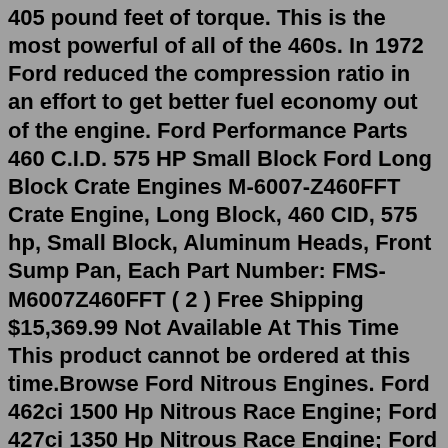405 pound feet of torque. This is the most powerful of all of the 460s. In 1972 Ford reduced the compression ratio in an effort to get better fuel economy out of the engine. Ford Performance Parts 460 C.I.D. 575 HP Small Block Ford Long Block Crate Engines M-6007-Z460FFT Crate Engine, Long Block, 460 CID, 575 hp, Small Block, Aluminum Heads, Front Sump Pan, Each Part Number: FMS-M6007Z460FFT ( 2 ) Free Shipping $15,369.99 Not Available At This Time This product cannot be ordered at this time.Browse Ford Nitrous Engines. Ford 462ci 1500 Hp Nitrous Race Engine; Ford 427ci 1350 Hp Nitrous Race Engine; Ford 364ci 1050 Hp Nitrous Race Engine; Featuring Top 3/3 of Ford Nitrous Engines. Subscribe. Read more Jan 09, 2007 · Tim1859. The 462 is a MEL (Mercury - Edsel-Lincoln) block engine and shares no parts with the 385-series 460 that replaced it. The 462 was never used as a performance engine so there are virtually no parts available to hop one up. I think you would have trouble finding anyone to suggest that it is superior to the 460 in any regard. Remanufactured